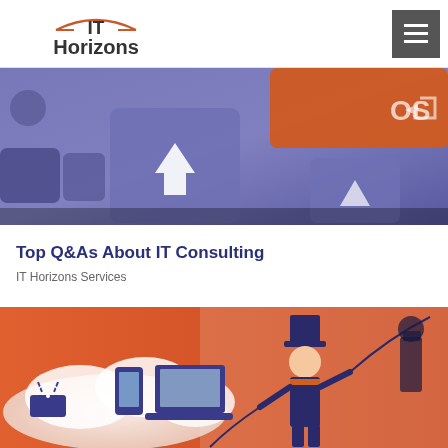IT Horizons
[Figure (photo): Close-up photo of a purple/blue computer keyboard with an orange key visible in the upper right]
Top Q&As About IT Consulting
IT Horizons Services
[Figure (illustration): Illustration on an orange background showing a person in a top hat holding a whip, with a cloud containing connected devices (router, smartphone, tablet, laptop)]